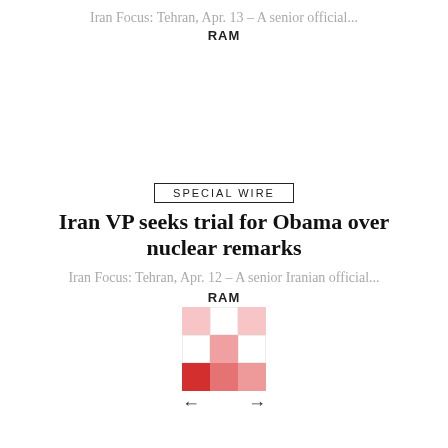Iran Focus: Tehran, Apr. 13 – A senior official...
RAM
SPECIAL WIRE
Iran VP seeks trial for Obama over nuclear remarks
Iran Focus: Tehran, Apr. 12 – A senior Iranian official...
[Figure (other): RAM grid navigation widget with colored squares in pink and red, with left and right arrows]